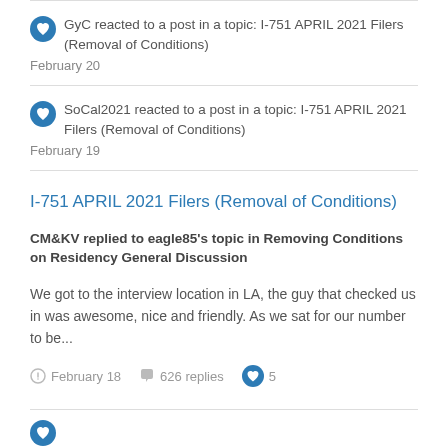GyC reacted to a post in a topic: I-751 APRIL 2021 Filers (Removal of Conditions)
February 20
SoCal2021 reacted to a post in a topic: I-751 APRIL 2021 Filers (Removal of Conditions)
February 19
I-751 APRIL 2021 Filers (Removal of Conditions)
CM&KV replied to eagle85's topic in Removing Conditions on Residency General Discussion
We got to the interview location in LA, the guy that checked us in was awesome, nice and friendly. As we sat for our number to be...
February 18   626 replies   5